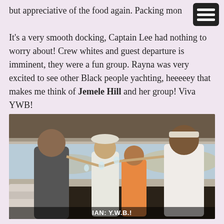but appreciative of the food again. Packing mon…
It's a very smooth docking, Captain Lee had nothing to worry about! Crew whites and guest departure is imminent, they were a fun group. Rayna was very excited to see other Black people yachting, heeeeey that makes me think of Jemele Hill and her group! Viva YWB!
[Figure (photo): Group of people on a yacht toasting with champagne glasses, standing on the deck with water visible in background. Caption reads 'IAN: Y.W.B.!']
IAN: Y.W.B.!